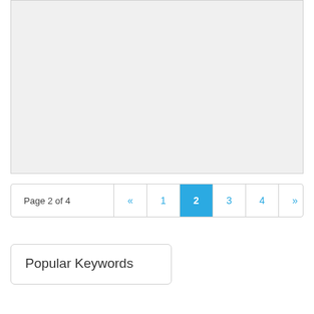[Figure (other): Large empty light gray content area box]
Page 2 of 4  «  1  2  3  4  »
Popular Keywords